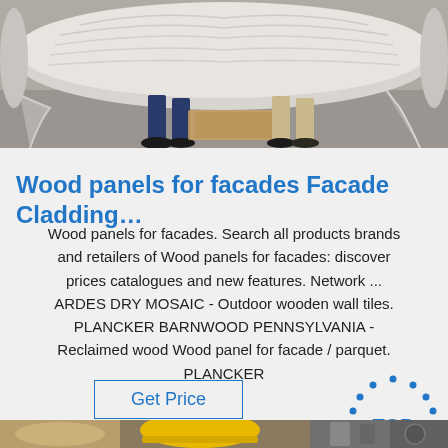[Figure (photo): Two people carrying a large roll of wrapped material in a warehouse or industrial setting. The roll appears to be white/gray wrapped material. Two pairs of legs visible, concrete floor.]
Wood panels for facades Facade Cladding…
Wood panels for facades. Search all products brands and retailers of Wood panels for facades: discover prices catalogues and new features. Network ... ARDES DRY MOSAIC - Outdoor wooden wall tiles. PLANCKER BARNWOOD PENNSYLVANIA - Reclaimed wood Wood panel for facade / parquet. PLANCKER
[Figure (logo): TOP logo with blue dots arranged in a house/arch shape above the text TOP in blue letters]
[Figure (photo): Partial view of a bottom photo showing industrial/construction materials including what appears to be a yellow hard hat and cylindrical objects]